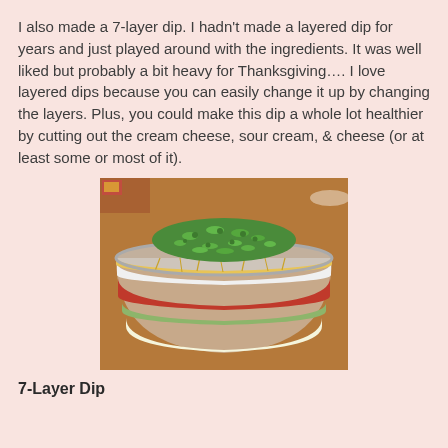I also made a 7-layer dip. I hadn't made a layered dip for years and just played around with the ingredients. It was well liked but probably a bit heavy for Thanksgiving…. I love layered dips because you can easily change it up by changing the layers. Plus, you could make this dip a whole lot healthier by cutting out the cream cheese, sour cream, & cheese (or at least some or most of it).
[Figure (photo): A 7-layer dip in a clear glass bowl on a wooden table, showing distinct layers including cream cheese, salsa, shredded cheese, and topped with chopped green onions.]
7-Layer Dip